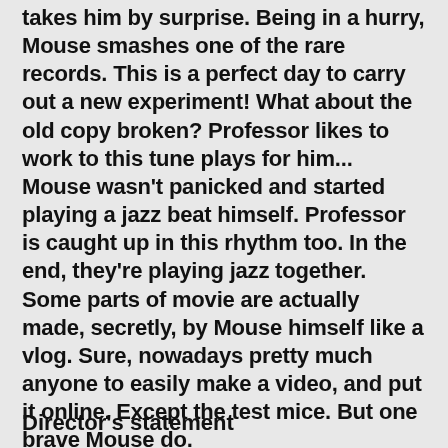collection of old vinyl. Next morning, Professor takes him by surprise. Being in a hurry, Mouse smashes one of the rare records. This is a perfect day to carry out a new experiment! What about the old copy broken? Professor likes to work to this tune plays for him... Mouse wasn't panicked and started playing a jazz beat himself. Professor is caught up in this rhythm too. In the end, they're playing jazz together. Some parts of movie are actually made, secretly, by Mouse himself like a vlog. Sure, nowadays pretty much anyone to easily make a video, and put it online. Except the test mice. But one brave Mouse do.
Director's statement